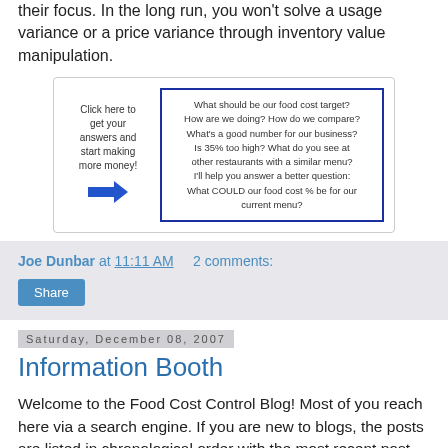their focus. In the long run, you won't solve a usage variance or a price variance through inventory value manipulation.
[Figure (screenshot): A screenshot of a clickable image with text 'Click here to get your answers and start making more money!' on the left with a blue arrow, and a blue-bordered box on the right with questions about food cost target.]
Joe Dunbar at 11:11 AM   2 comments:
Share
Saturday, December 08, 2007
Information Booth
Welcome to the Food Cost Control Blog! Most of you reach here via a search engine. If you are new to blogs, the posts are listed in chronological order with the most recent post on top. The left sidebar has many industry links and other information sources. I encourage you to signup for our